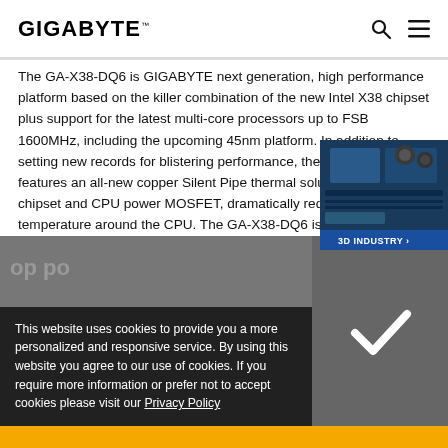GIGABYTE
The GA-X38-DQ6 is GIGABYTE next generation, high performance platform based on the killer combination of the new Intel X38 chipset plus support for the latest multi-core processors up to FSB 1600MHz, including the upcoming 45nm platform. In addition to setting new records for blistering performance, the GA-X38-DQ6 features an all-new copper Silent Pipe thermal solution for both the chipset and CPU power MOSFET, dramatically reducing the temperature around the CPU. The GA-X38-DQ6 is also part of the GIGABYTE Ultra Durable 2 Series of motherboards, featuring top quality electronic components which provide optimized power savings, ultra cooling and
[Figure (photo): GIGABYTE motherboard product photo, 3D INDUSTRY button overlay]
This website uses cookies to provide you a more personalized and responsive service. By using this website you agree to our use of cookies. If you require more information or prefer not to accept cookies please visit our Privacy Policy